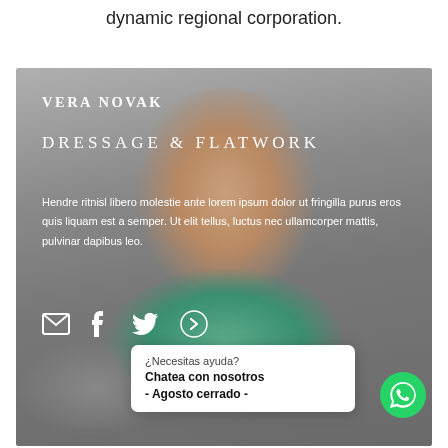dynamic regional corporation.
[Figure (photo): Profile photo of Vera Novak, a smiling woman with glasses and brown hair, wearing a teal shirt and grey cardigan, overlaid with name, discipline, description text, social icons, and a WhatsApp chat popup.]
VERA NOVAK
DRESSAGE & FLATWORK
Hendre ritnisl libero molestie ante lorem ipsum dolor ut fringilla purus eros quis liquam est a semper. Ut elit tellus, luctus nec ullamcorper mattis, pulvinar dapibus leo.
¿Necesitas ayuda?
Chatea con nosotros
- Agosto cerrado -